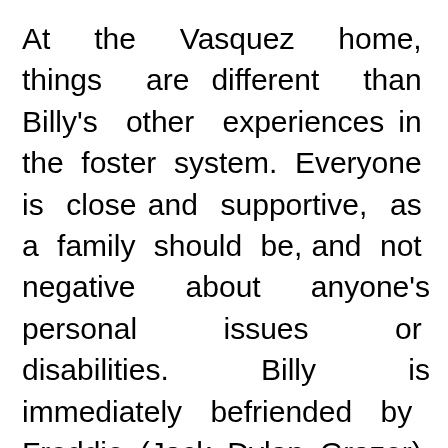At the Vasquez home, things are different than Billy's other experiences in the foster system. Everyone is close and supportive, as a family should be, and not negative about anyone's personal issues or disabilities. Billy is immediately befriended by Freddie (Jack Dylan Grazer), who is only a year younger, very talkative, and forward to the point of being a pest. Freddie is crippled in one leg and must use a walking stick to get around. At school,